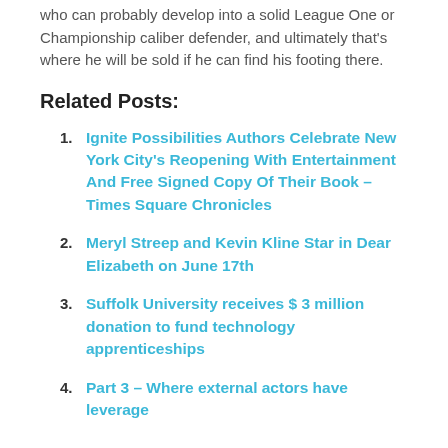who can probably develop into a solid League One or Championship caliber defender, and ultimately that's where he will be sold if he can find his footing there.
Related Posts:
Ignite Possibilities Authors Celebrate New York City's Reopening With Entertainment And Free Signed Copy Of Their Book – Times Square Chronicles
Meryl Streep and Kevin Kline Star in Dear Elizabeth on June 17th
Suffolk University receives $ 3 million donation to fund technology apprenticeships
Part 3 – Where external actors have leverage